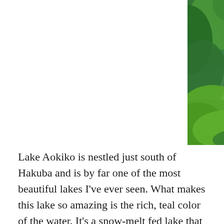[Figure (photo): A scenic view of Lake Aokiko seen through lush green trees. The lake displays a vivid teal/turquoise color. Dense green foliage frames the image on all sides with the blue-green water visible in the center and upper portion of the photo.]
Lake Aokiko is nestled just south of Hakuba and is by far one of the most beautiful lakes I've ever seen. What makes this lake so amazing is the rich, teal color of the water. It's a snow-melt fed lake that is one of